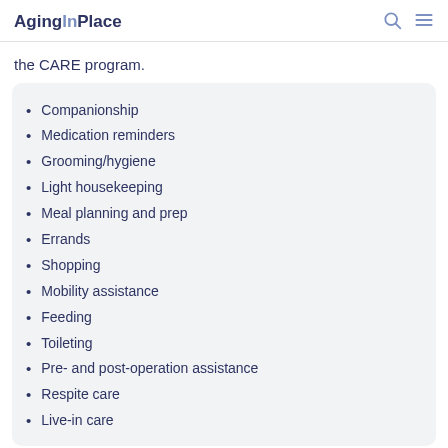AgingInPlace
the CARE program.
Companionship
Medication reminders
Grooming/hygiene
Light housekeeping
Meal planning and prep
Errands
Shopping
Mobility assistance
Feeding
Toileting
Pre- and post-operation assistance
Respite care
Live-in care